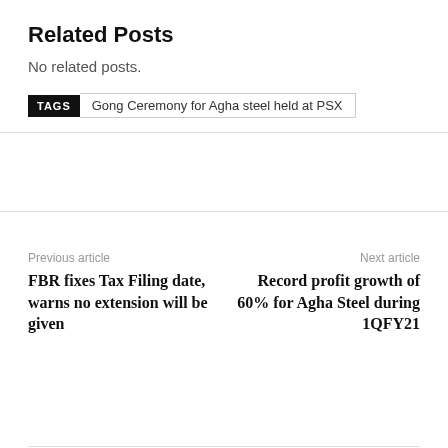Related Posts
No related posts.
TAGS   Gong Ceremony for Agha steel held at PSX
Previous article
Next article
FBR fixes Tax Filing date, warns no extension will be given
Record profit growth of 60% for Agha Steel during 1QFY21